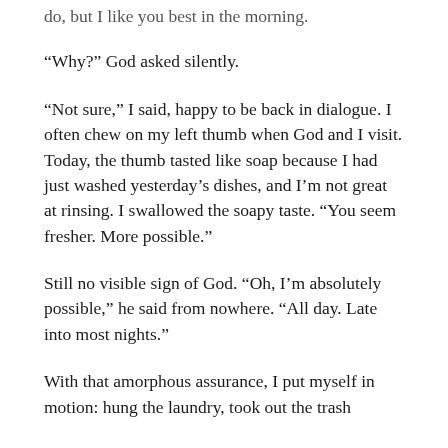do, but I like you best in the morning.
“Why?” God asked silently.
“Not sure,” I said, happy to be back in dialogue. I often chew on my left thumb when God and I visit. Today, the thumb tasted like soap because I had just washed yesterday’s dishes, and I’m not great at rinsing. I swallowed the soapy taste. “You seem fresher. More possible.”
Still no visible sign of God. “Oh, I’m absolutely possible,” he said from nowhere. “All day. Late into most nights.”
With that amorphous assurance, I put myself in motion: hung the laundry, took out the trash